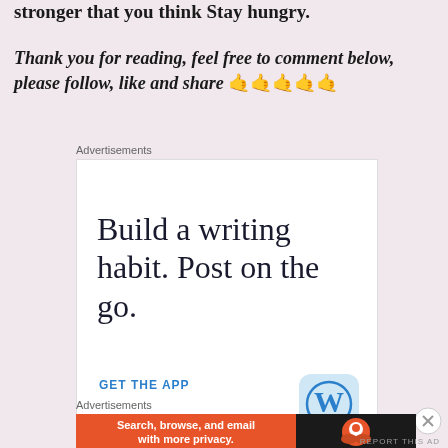stronger that you think Stay hungry.
Thank you for reading, feel free to comment below, please follow, like and share 🤙🤙🤙🤙🤙
Advertisements
[Figure (other): WordPress app advertisement: 'Build a writing habit. Post on the go.' with GET THE APP link and WordPress logo]
Advertisements
[Figure (other): DuckDuckGo advertisement: 'Search, browse, and email with more privacy. All in One Free App']